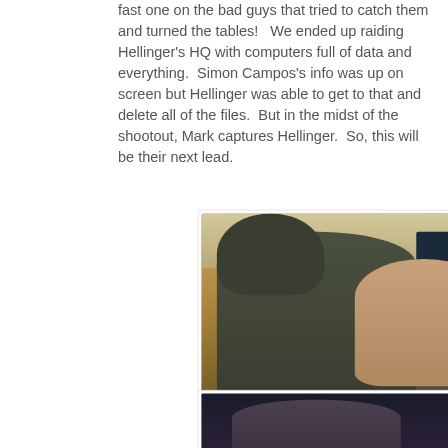fast one on the bad guys that tried to catch them and turned the tables!   We ended up raiding Hellinger's HQ with computers full of data and everything.  Simon Campos's info was up on screen but Hellinger was able to get to that and delete all of the files.  But in the midst of the shootout, Mark captures Hellinger.  So, this will be their next lead.
[Figure (photo): TV show screenshot showing a hooded man in a grey zip-up hoodie holding a gun, apprehending a bald man near a dark car. ABC network watermark visible in corner.]
[Figure (photo): TV show screenshot showing a dark scene with a figure, partially visible at bottom of page.]